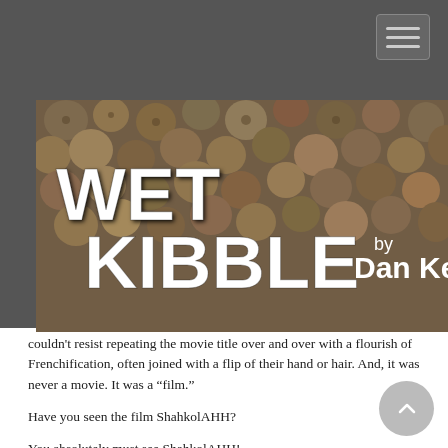[Figure (screenshot): Navigation bar with hamburger menu icon on dark gray background]
[Figure (photo): Header image showing wet kibble/pellets with overlay text reading 'WET KIBBLE by Dan Kelsey' in bold white letters]
couldn't resist repeating the movie title over and over with a flourish of Frenchification, often joined with a flip of their hand or hair. And, it was never a movie. It was a “film.”
Have you seen the film ShahkolAHH?
You absolutely must see ShahkolAHH!
ShahkolAHH is such a divine film!
ShahkolAHH is to die for!
Please do tell me when you’ve seen ShahkolAHH! We must discuss ShahkolAHH!
With every insult of “ShahkolAHH!” I flinched and knew